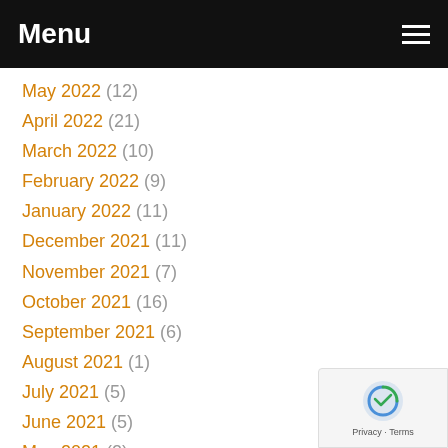Menu
May 2022 (12)
April 2022 (21)
March 2022 (10)
February 2022 (9)
January 2022 (11)
December 2021 (11)
November 2021 (7)
October 2021 (16)
September 2021 (6)
August 2021 (1)
July 2021 (5)
June 2021 (5)
May 2021 (2)
April 2021 (39)
March 2021 (55)
February 2021 (59)
January 2021 (58)
December 2020 (59)
November 2020 (55)